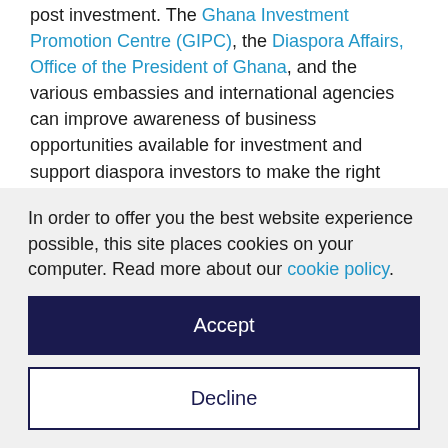post investment. The Ghana Investment Promotion Centre (GIPC), the Diaspora Affairs, Office of the President of Ghana, and the various embassies and international agencies can improve awareness of business opportunities available for investment and support diaspora investors to make the right decisions.
The green and circular economy in Ghana is budding, and therefore SMEs must ensure that their
In order to offer you the best website experience possible, this site places cookies on your computer. Read more about our cookie policy.
Accept
Decline